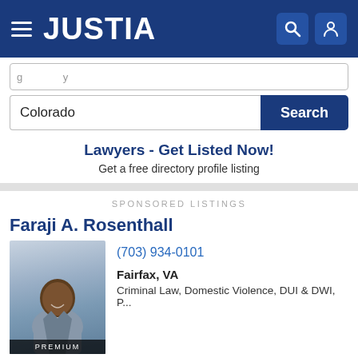JUSTIA
Colorado
Search
Lawyers - Get Listed Now!
Get a free directory profile listing
SPONSORED LISTINGS
Faraji A. Rosenthall
[Figure (photo): Headshot of Faraji A. Rosenthall, a man in a gray suit, smiling, with a blurred outdoor background. A PREMIUM badge appears at the bottom of the photo.]
(703) 934-0101
Fairfax, VA
Criminal Law, Domestic Violence, DUI & DWI, P...